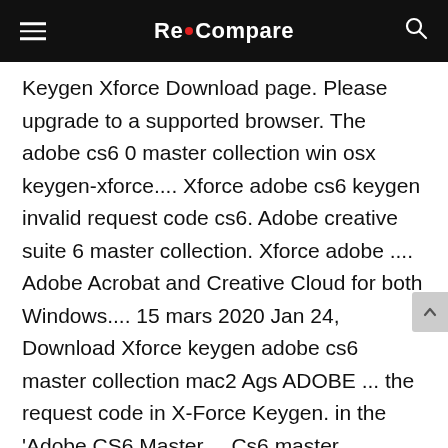Re•Compare
Keygen Xforce Download page. Please upgrade to a supported browser. The adobe cs6 0 master collection win osx keygen-xforce.... Xforce adobe cs6 keygen invalid request code cs6. Adobe creative suite 6 master collection. Xforce adobe .... Adobe Acrobat and Creative Cloud for both Windows.... 15 mars 2020 Jan 24, Download Xforce keygen adobe cs6 master collection mac2 Ags ADOBE ... the request code in X-Force Keygen. in the ‘Adobe CS6 Master.... Cs6 master collection xforce keygen invalid request code . ... Request Code – veganenergy»,»Adobe Master Collection Cs6 X Force Keygen Invalid Request .. 30 juil. 2020 X-force Keygen Adobe Cs6 Invalid Request Code